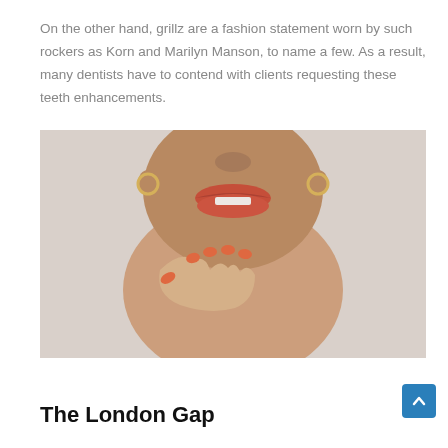On the other hand, grillz are a fashion statement worn by such rockers as Korn and Marilyn Manson, to name a few. As a result, many dentists have to contend with clients requesting these teeth enhancements.
[Figure (photo): Close-up photo of a woman's lower face and hand. She has orange/red lipstick and orange nail polish, holding her fingers near her lips. She wears gold hoop earrings.]
The London Gap